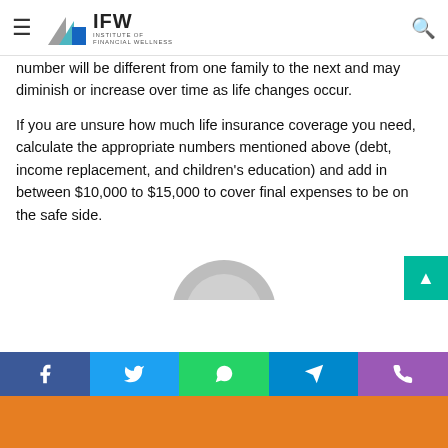IFW – Institute of Financial Wellness
number will be different from one family to the next and may diminish or increase over time as life changes occur.
If you are unsure how much life insurance coverage you need, calculate the appropriate numbers mentioned above (debt, income replacement, and children's education) and add in between $10,000 to $15,000 to cover final expenses to be on the safe side.
© Fintactix, LLC 2021
[Figure (illustration): Gray circular avatar/person silhouette icon, partially visible at bottom of content area]
Facebook | Twitter | WhatsApp | Telegram | Phone social share bar